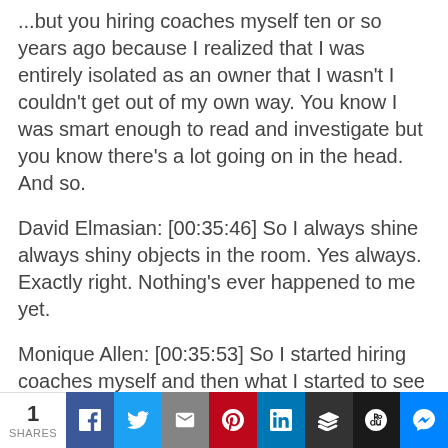...but you hiring coaches myself ten or so years ago because I realized that I was entirely isolated as an owner that I wasn't I couldn't get out of my own way. You know I was smart enough to read and investigate but you know there's a lot going on in the head. And so.
David Elmasian: [00:35:46] So I always shine always shiny objects in the room. Yes always. Exactly right. Nothing's ever happened to me yet.
Monique Allen: [00:35:53] So I started hiring coaches myself and then what I started to see was exponential growth. I started to see it was
1 SHARES | Facebook | Twitter | Email | Pinterest | LinkedIn | Buffer | Hootsuite | Messenger